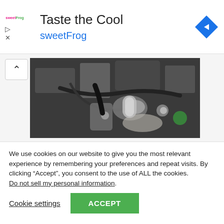[Figure (advertisement): sweetFrog frozen yogurt advertisement banner with logo, 'Taste the Cool' title, 'sweetFrog' subtitle in blue, and a blue navigation diamond icon on the right]
[Figure (photo): Close-up photo of a car engine compartment showing mechanical parts, hoses, and components]
We use cookies on our website to give you the most relevant experience by remembering your preferences and repeat visits. By clicking “Accept”, you consent to the use of ALL the cookies. Do not sell my personal information.
Cookie settings   ACCEPT